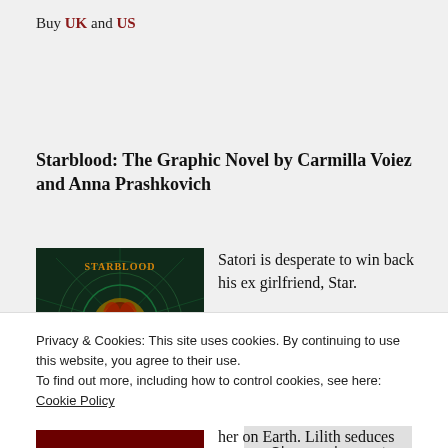Buy UK and US
Starblood: The Graphic Novel by Carmilla Voiez and Anna Prashkovich
[Figure (illustration): Book cover of Starblood graphic novel featuring a green glowing circle and a red-haired figure, with 'STARBLOOD' text at the top in orange/gold stylized lettering on a dark green background.]
Satori is desperate to win back his ex girlfriend, Star.
Privacy & Cookies: This site uses cookies. By continuing to use this website, you agree to their use.
To find out more, including how to control cookies, see here: Cookie Policy
Close and accept
her on Earth. Lilith seduces